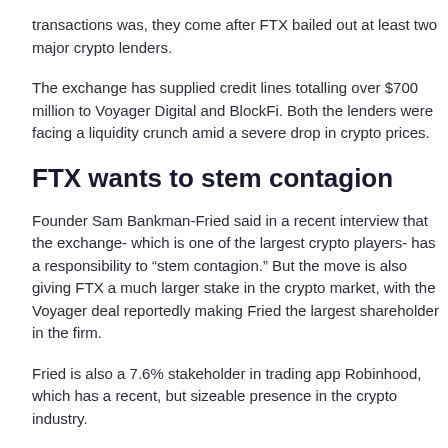transactions was, they come after FTX bailed out at least two major crypto lenders.
The exchange has supplied credit lines totalling over $700 million to Voyager Digital and BlockFi. Both the lenders were facing a liquidity crunch amid a severe drop in crypto prices.
FTX wants to stem contagion
Founder Sam Bankman-Fried said in a recent interview that the exchange- which is one of the largest crypto players- has a responsibility to “stem contagion.” But the move is also giving FTX a much larger stake in the crypto market, with the Voyager deal reportedly making Fried the largest shareholder in the firm.
Fried is also a 7.6% stakeholder in trading app Robinhood, which has a recent, but sizeable presence in the crypto industry.
FTX’s bailouts come on the heels of a potential insolvency in crypto hedge fund Three Arrows Capital (3AC), which Voyager and BlockFi were both exposed to. Concerns over contagion from the insolvency have spread across the market, bringing down crypto prices.